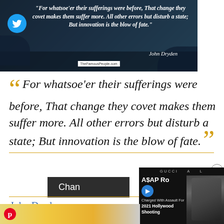[Figure (screenshot): Dark blue nature scene with Twitter icon and overlaid italic quote in white: 'For whatsoe'er their sufferings were before, That change they covet makes them suffer more. All other errors but disturb a state; But innovation is the blow of fate.' with John Dryden signature and TheFamousPeople.com brand tag.]
“For whatsoe'er their sufferings were before, That change they covet makes them suffer more. All other errors but disturb a state; But innovation is the blow of fate.”
Chan
John Dryden
[Figure (screenshot): A$AP Rocky news video overlay with GUCCI branding. Shows 'A$AP Ro... Charged With Assault For 2021 Hollywood Shooting' with a play button.]
[Figure (screenshot): Bottom Pinterest strip showing a partial image with yellow/flame tones and a Pinterest icon.]